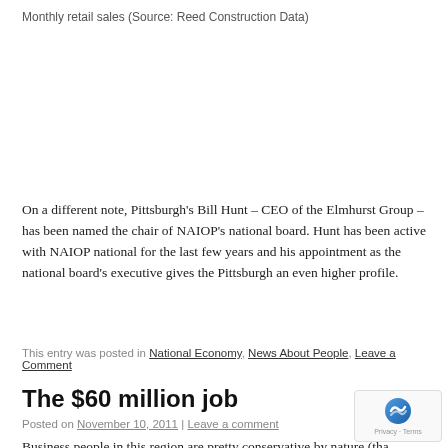Monthly retail sales (Source: Reed Construction Data)
On a different note, Pittsburgh’s Bill Hunt – CEO of the Elmhurst Group – has been named the chair of NAIOP’s national board. Hunt has been active with NAIOP national for the last few years and his appointment as the national board’s executive gives the Pittsburgh an even higher profile.
This entry was posted in National Economy, News About People, Leave a Comment
The $60 million job
Posted on November 10, 2011 | Leave a comment
Business people in this region are pretty conservative by nature (that’s why many of them last so long), so it it’s taking a little while to have the feel of a recovery sink in. But the action in the market right now is pretty encouraging, especially if you’re a general contractor working in the $60 million sweet spot...